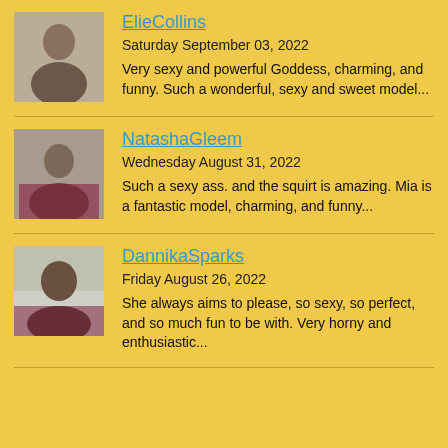[Figure (photo): Thumbnail photo of ElieCollins]
ElieCollins
Saturday September 03, 2022
Very sexy and powerful Goddess, charming, and funny. Such a wonderful, sexy and sweet model...
[Figure (photo): Thumbnail photo of NatashaGleem]
NatashaGleem
Wednesday August 31, 2022
Such a sexy ass. and the squirt is amazing. Mia is a fantastic model, charming, and funny...
[Figure (photo): Thumbnail photo of DannikaSparks]
DannikaSparks
Friday August 26, 2022
She always aims to please, so sexy, so perfect, and so much fun to be with. Very horny and enthusiastic...